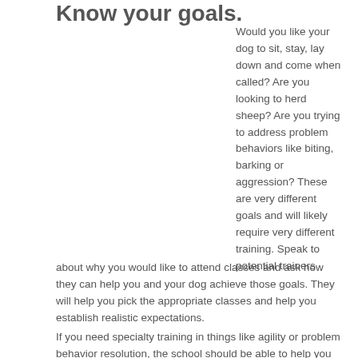Know your goals.
Would you like your dog to sit, stay, lay down and come when called? Are you looking to herd sheep? Are you trying to address problem behaviors like biting, barking or aggression? These are very different goals and will likely require very different training. Speak to potential trainers about why you would like to attend classes and ask how they can help you and your dog achieve those goals. They will help you pick the appropriate classes and help you establish realistic expectations.
If you need specialty training in things like agility or problem behavior resolution, the school should be able to help you establish an education plan that will get you and your pup the